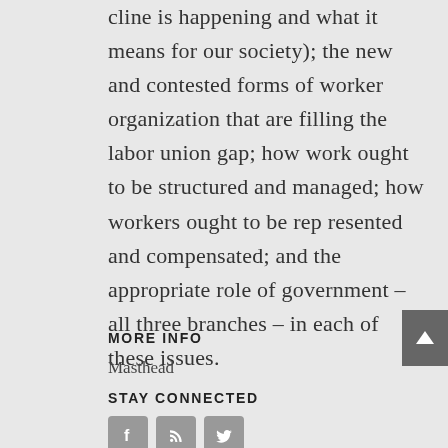cline is happening and what it means for our society); the new and contested forms of worker organization that are filling the labor union gap; how work ought to be structured and managed; how workers ought to be represented and compensated; and the appropriate role of government – all three branches – in each of these issues.
MORE INFO
Masthead
STAY CONNECTED
[Figure (infographic): Three social media icon buttons: Facebook (f), RSS feed, and Twitter (bird icon), displayed as gray rounded square buttons]